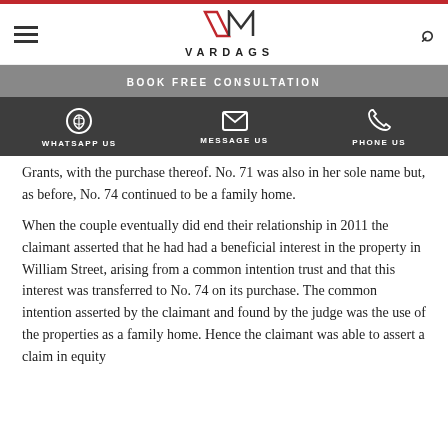VARDAGS
BOOK FREE CONSULTATION
WHATSAPP US   MESSAGE US   PHONE US
Grants, with the purchase thereof. No. 71 was also in her sole name but, as before, No. 74 continued to be a family home.
When the couple eventually did end their relationship in 2011 the claimant asserted that he had had a beneficial interest in the property in William Street, arising from a common intention trust and that this interest was transferred to No. 74 on its purchase. The common intention asserted by the claimant and found by the judge was the use of the properties as a family home. Hence the claimant was able to assert a claim in equity